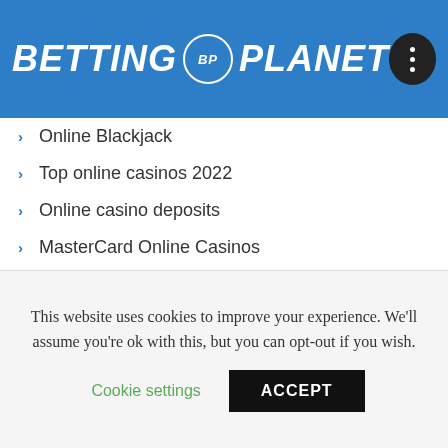[Figure (logo): Betting Planet logo with blue background, white italic bold text and circular BP badge, plus dark menu button]
Online Blackjack
Top online casinos 2022
Online casino deposits
MasterCard Online Casinos
Online Casinos Accepting POLi
PaysafeCard online casino deposits
Online slots
Playing Pai Gow Poker on the Internet
Online keno
Online poker
This website uses cookies to improve your experience. We'll assume you're ok with this, but you can opt-out if you wish.
Cookie settings   ACCEPT